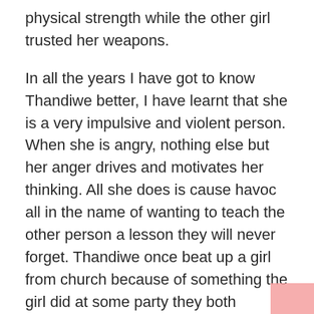physical strength while the other girl trusted her weapons.
In all the years I have got to know Thandiwe better, I have learnt that she is a very impulsive and violent person. When she is angry, nothing else but her anger drives and motivates her thinking. All she does is cause havoc all in the name of wanting to teach the other person a lesson they will never forget. Thandiwe once beat up a girl from church because of something the girl did at some party they both attended the previous night. Thandiwe waited for the church service to be done, then she went to wait for the girl outside, she called the girl aside but the girl took her sweet time and that angered Thandiwe even more. Thandiwe eventually decided to go get the girl for herself.